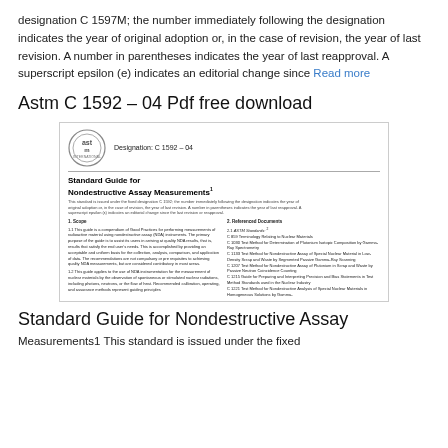designation C 1597M; the number immediately following the designation indicates the year of original adoption or, in the case of revision, the year of last revision. A number in parentheses indicates the year of last reapproval. A superscript epsilon (e) indicates an editorial change since Read more
Astm C 1592 – 04 Pdf free download
[Figure (screenshot): Thumbnail image of ASTM standard document C 1592-04 titled 'Standard Guide for Nondestructive Assay Measurements' showing the ASTM logo, designation, introductory note, and two-column body text with scope and referenced documents sections.]
Standard Guide for Nondestructive Assay Measurements1 This standard is issued under the fixed